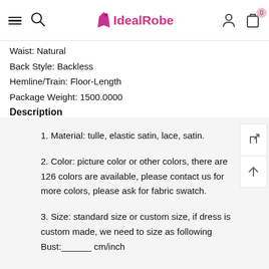IdealRobe
Waist: Natural
Back Style: Backless
Hemline/Train: Floor-Length
Package Weight: 1500.0000
Description
1. Material: tulle, elastic satin, lace, satin.
2. Color: picture color or other colors, there are 126 colors are available, please contact us for more colors, please ask for fabric swatch.
3. Size: standard size or custom size, if dress is custom made, we need to size as following
Bust:______ cm/inch